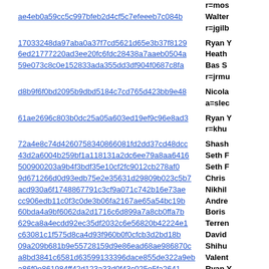ae4eb0a59cc5c997bfeb2d4cf5c7efeeeb7c084b | Walter r=jgilb
17033248da97aba0a37f7cd5621d65e3b37f8129 | Ryan Y
6ed21777220ad3ee20fc6fdc28438a7aaeb0504a | Heath
59e073c8c0e152833ada355dd3df904f0687c8fa | Bas S r=jrmu
d8b9f6f0bd2095b9dbd5184c7cd765d423bb9e48 | Nicola a=slec
61ae2696c803b0dc25a05a603ed19ef9c96e8ad3 | Ryan Y r=khu
72a4e8c74d4260758340866081fd2dd37cd48dcc | Shash
43d2a6004b259bf1a118131a2dc6ee79a8aa6416 | Seth F
500900203a9b4f3bdf35e10cf2fc9012cb278af0 | Seth F
9d671266d0d93edb75e2e35631d29809b023c5b7 | Chris
acd930a6f1748867791c3cf9a071c742b16e73ae | Nikhil
cc906edb11c0f3c0de3b06fa2167ae65a54bc19b | Andre
60bda4a9bf6062da2d1716c6d899a7a8cb0ffa7b | Boris
629ca8a4ecdd92ec35df2032c6e56820b42224e1 | Terren
c63081c1f575d8ca4d93f960b0f0cfcb3d2bd18b | David
09a209b681b9e55728159d9e86ead68ae986870c | Shihua
a8bd3841c6581d63599133396dace855de322a9eb | Valent
a86f9e861984ff42d123a33d0f43c025e5fa2641 | Ryan Y
c6b3647665e07ff73676dc42352da8e1308bc54a | David
307ac98a19c2dd981180e18582979ed1364cca96 | Karl T
1db524a4b295d9de885483793038e73e63b8c8f1 | Karl T